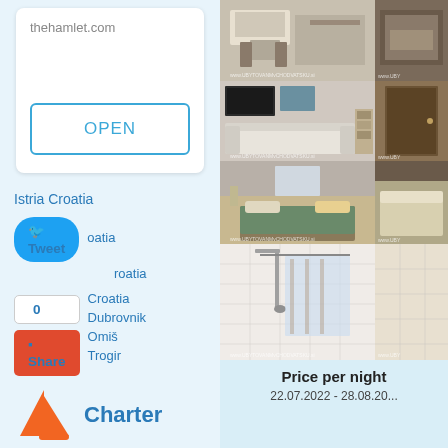thehamlet.com
OPEN
Istria Croatia
oatia
roatia
Croatia
Dubrovnik
Omiš
Trogir
Apartments Rogoznica
[Figure (photo): Grid of 8 apartment interior photos showing kitchen/dining area, living room with sofa, bedroom, bathroom with shower]
Price per night
Charter